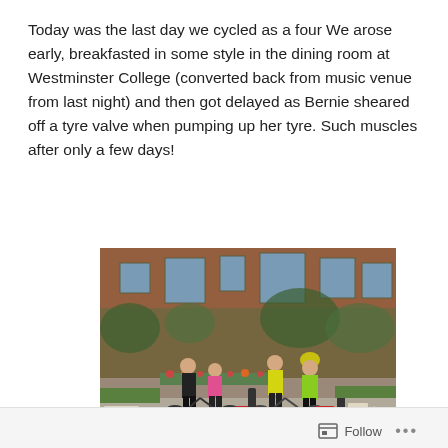Today was the last day we cycled as a four We arose early, breakfasted in some style in the dining room at Westminster College (converted back from music venue from last night) and then got delayed as Bernie sheared off a tyre valve when pumping up her tyre. Such muscles after only a few days!
[Figure (photo): Four cyclists with their bikes posing in front of a large red-brick building (Westminster College) with ivy-covered walls. Two cyclists wear helmets (yellow and black). The bikes have panniers and luggage. A bike trailer is visible on the right.]
Follow